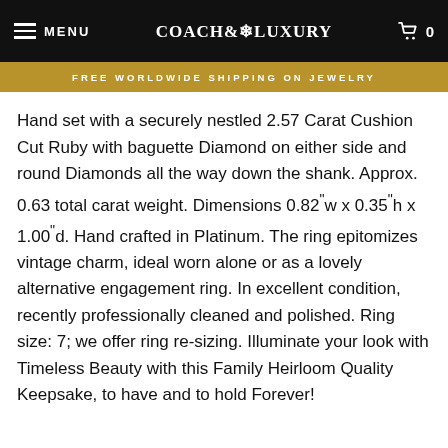MENU  COACH & LUXURY  0
FREE WORLDWIDE SHIPPING ON JEWELRY
$16,500.00
Hand set with a securely nestled 2.57 Carat Cushion Cut Ruby with baguette Diamond on either side and round Diamonds all the way down the shank. Approx. 0.63 total carat weight. Dimensions 0.82"w x 0.35"h x 1.00"d. Hand crafted in Platinum. The ring epitomizes vintage charm, ideal worn alone or as a lovely alternative engagement ring. In excellent condition, recently professionally cleaned and polished. Ring size: 7; we offer ring re-sizing. Illuminate your look with Timeless Beauty with this Family Heirloom Quality Keepsake, to have and to hold Forever!